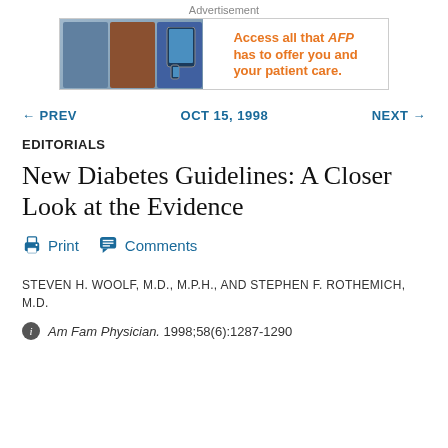[Figure (other): Advertisement banner for AFP (American Family Physician) showing tablet/phone devices with text 'Access all that AFP has to offer you and your patient care.']
← PREV   OCT 15, 1998   NEXT →
EDITORIALS
New Diabetes Guidelines: A Closer Look at the Evidence
Print   Comments
STEVEN H. WOOLF, M.D., M.P.H., AND STEPHEN F. ROTHEMICH, M.D.
Am Fam Physician. 1998;58(6):1287-1290